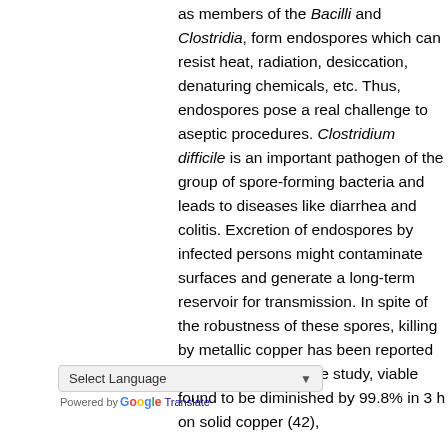as members of the Bacilli and Clostridia, form endospores which can resist heat, radiation, desiccation, denaturing chemicals, etc. Thus, endospores pose a real challenge to aseptic procedures. Clostridium difficile is an important pathogen of the group of spore-forming bacteria and leads to diseases like diarrhea and colitis. Excretion of endospores by infected persons might contaminate surfaces and generate a long-term reservoir for transmission. In spite of the robustness of these spores, killing by metallic copper has been reported in some cases. In one study, viable found to be diminished by 99.8% in 3 h on solid copper (42),